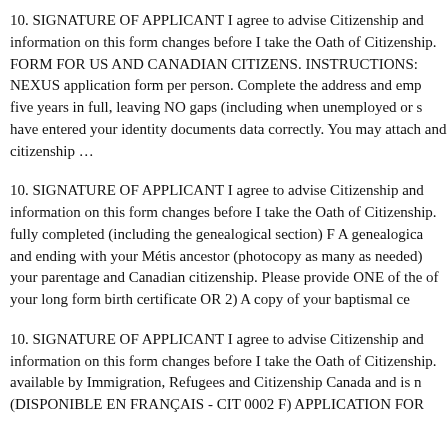10. SIGNATURE OF APPLICANT I agree to advise Citizenship and information on this form changes before I take the Oath of Citizenship. FORM FOR US AND CANADIAN CITIZENS. INSTRUCTIONS: NEXUS application form per person. Complete the address and employment history for five years in full, leaving NO gaps (including when unemployed or s have entered your identity documents data correctly. You may attach and citizenship …
10. SIGNATURE OF APPLICANT I agree to advise Citizenship and information on this form changes before I take the Oath of Citizenship. fully completed (including the genealogical section) F A genealogica and ending with your Métis ancestor (photocopy as many as needed) your parentage and Canadian citizenship. Please provide ONE of the of your long form birth certificate OR 2) A copy of your baptismal ce
10. SIGNATURE OF APPLICANT I agree to advise Citizenship and information on this form changes before I take the Oath of Citizenship. available by Immigration, Refugees and Citizenship Canada and is n (DISPONIBLE EN FRANÇAIS - CIT 0002 F) APPLICATION FOR